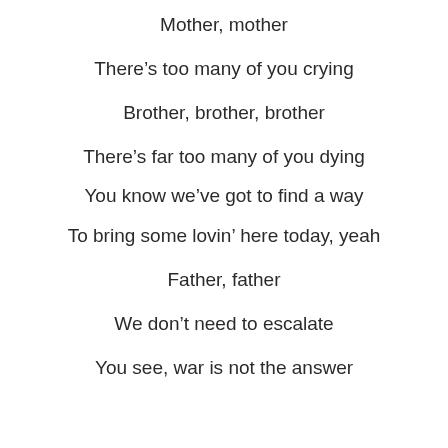Mother, mother
There's too many of you crying
Brother, brother, brother
There's far too many of you dying
You know we've got to find a way
To bring some lovin' here today, yeah
Father, father
We don't need to escalate
You see, war is not the answer